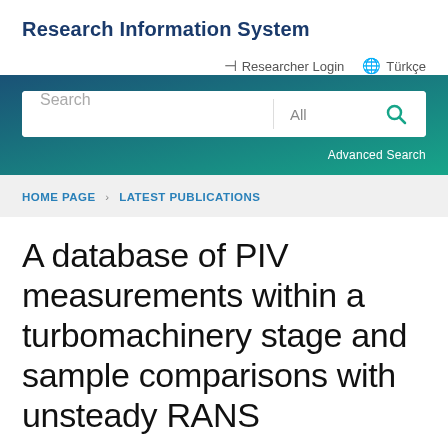Research Information System
Researcher Login  Türkçe
[Figure (screenshot): Search bar with text input field, dropdown showing 'All', and a teal search icon button, inside a blue-to-green gradient banner with 'Advanced Search' link]
HOME PAGE > LATEST PUBLICATIONS
A database of PIV measurements within a turbomachinery stage and sample comparisons with unsteady RANS